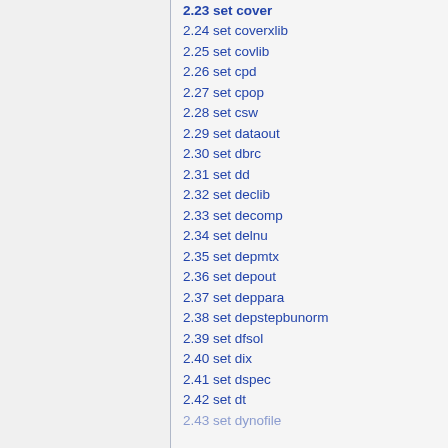2.24 set coverxlib
2.25 set covlib
2.26 set cpd
2.27 set cpop
2.28 set csw
2.29 set dataout
2.30 set dbrc
2.31 set dd
2.32 set declib
2.33 set decomp
2.34 set delnu
2.35 set depmtx
2.36 set depout
2.37 set deppara
2.38 set depstepbunorm
2.39 set dfsol
2.40 set dix
2.41 set dspec
2.42 set dt
2.43 set dynofile